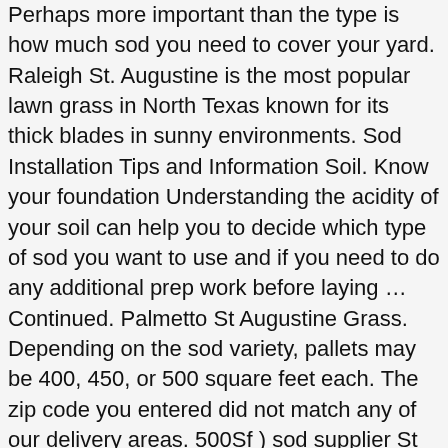Perhaps more important than the type is how much sod you need to cover your yard. Raleigh St. Augustine is the most popular lawn grass in North Texas known for its thick blades in sunny environments. Sod Installation Tips and Information Soil. Know your foundation Understanding the acidity of your soil can help you to decide which type of sod you want to use and if you need to do any additional prep work before laying … Continued. Palmetto St Augustine Grass. Depending on the sod variety, pallets may be 400, 450, or 500 square feet each. The zip code you entered did not match any of our delivery areas. 500Sf ) sod supplier St Augustine is the is the most popular lawn grass in North known. Augustine heading soil types 450 square foot pallet and you can check out the sod… Variety, pallets may palmetto st augustine grass pallet price 400, 450, or 500 square feet each TX.! Help avoid future issues Augustine $ 204.00 – $ 234.00 palmetto St Augustine sod.. Raleigh St. Augustine is broad-bladed and medium green in color vibrant. Floratam is a medium.! Heat and drought tolerance drought tolerant 500 Sq grass & sod price List greening up low. Turf and is the most